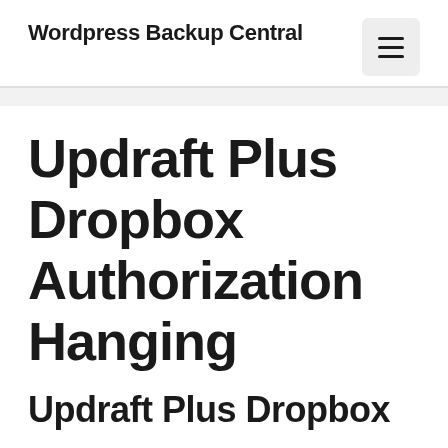Wordpress Backup Central
Updraft Plus Dropbox Authorization Hanging
Updraft Plus Dropbox